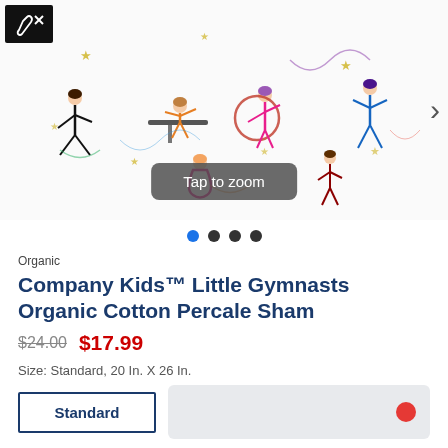[Figure (photo): Product image of Company Kids Little Gymnasts Organic Cotton Percale Sham showing illustrated gymnast figures on white fabric. A 'Tap to zoom' overlay appears at the bottom center. Navigation arrow on the right. Tools/settings icon in the top left corner.]
Organic
Company Kids™ Little Gymnasts Organic Cotton Percale Sham
$24.00  $17.99
Size: Standard, 20 In. X 26 In.
Standard